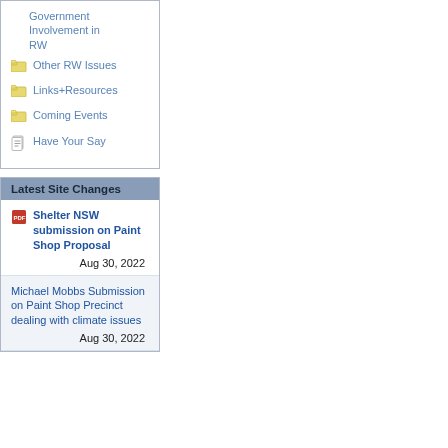Government Involvement in RW
Other RW Issues
Links+Resources
Coming Events
Have Your Say
Latest Site Changes
Shelter NSW submission on Paint Shop Proposal
Aug 30, 2022
Michael Mobbs Submission on Paint Shop Precinct dealing with climate issues
Aug 30, 2022